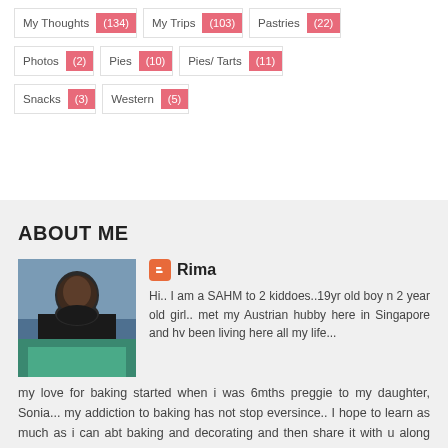My Thoughts (134)
My Trips (103)
Pastries (22)
Photos (2)
Pies (10)
Pies/ Tarts (11)
Snacks (3)
Western (5)
ABOUT ME
[Figure (photo): Profile photo of Rima, a woman sitting near a colorful inflatable pool outdoors.]
Rima
Hi.. I am a SAHM to 2 kiddoes..19yr old boy n 2 year old girl.. met my Austrian hubby here in Singapore and hv been living here all my life... my love for baking started when i was 6mths preggie to my daughter, Sonia... my addiction to baking has not stop eversince.. I hope to learn as much as i can abt baking and decorating and then share it with u along the way..